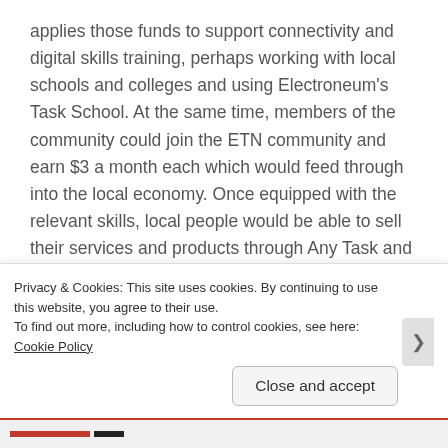applies those funds to support connectivity and digital skills training, perhaps working with local schools and colleges and using Electroneum's Task School. At the same time, members of the community could join the ETN community and earn $3 a month each which would feed through into the local economy. Once equipped with the relevant skills, local people would be able to sell their services and products through Any Task and earn a livelihood. Young people in particular would be able to make a living in their own community rather than feeling the need to migrate to the city for low paid and often exploitative low skilled work. They
Privacy & Cookies: This site uses cookies. By continuing to use this website, you agree to their use.
To find out more, including how to control cookies, see here: Cookie Policy
Close and accept